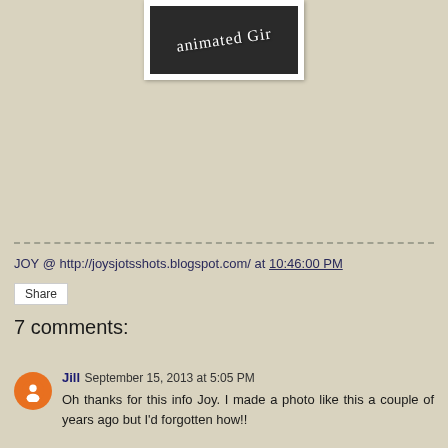[Figure (photo): A dark photo with white handwritten-style text reading 'animated Gir' on a dark background, framed in white like a polaroid/photo print]
JOY @ http://joysjotsshots.blogspot.com/ at 10:46:00 PM
Share
7 comments:
Jill September 15, 2013 at 5:05 PM
Oh thanks for this info Joy. I made a photo like this a couple of years ago but I'd forgotten how!!